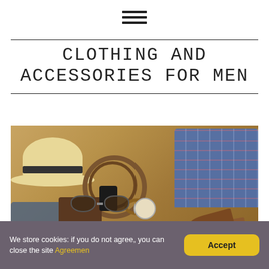[Figure (infographic): Hamburger menu icon (three horizontal lines)]
CLOTHING AND ACCESSORIES FOR MEN
[Figure (photo): Flat lay photo of men's clothing and accessories including a straw fedora hat, plaid blue shirt, leather belt coiled up, sunglasses, pocket watch, brown leather wallet, denim jeans, leather shoes, phone, and bracelet arranged on a wooden surface.]
We store cookies: if you do not agree, you can close the site Agreemen
Accept